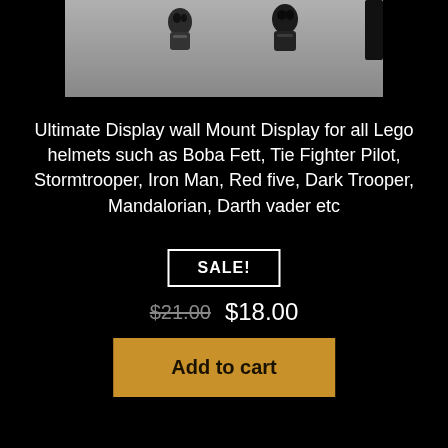[Figure (photo): Partial view of small Lego helmet figurines (appearing to be Star Wars characters) photographed against a light gray background. Two figurines are visible at the top, cropped at the bottom of the product image area.]
Ultimate Display wall Mount Display for all Lego helmets such as Boba Fett, Tie Fighter Pilot, Stormtrooper, Iron Man, Red five, Dark Trooper, Mandalorian, Darth vader etc
SALE!
$21.00  $18.00
Add to cart